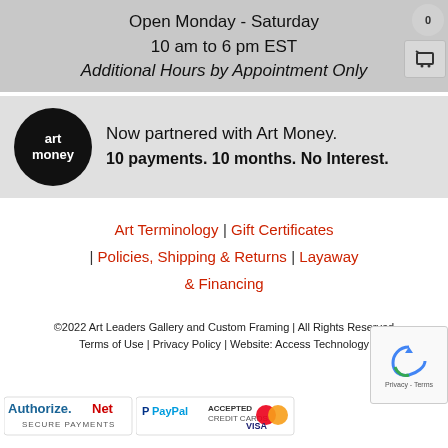Open Monday - Saturday
10 am to 6 pm EST
Additional Hours by Appointment Only
[Figure (logo): Art Money logo banner: black circle with 'art money' text, followed by 'Now partnered with Art Money. 10 payments. 10 months. No Interest.']
Art Terminology | Gift Certificates | Policies, Shipping & Returns | Layaway & Financing
©2022 Art Leaders Gallery and Custom Framing | All Rights Reserved
Terms of Use | Privacy Policy | Website: Access Technology
[Figure (logo): Payment logos: Authorize.Net Secure Payments, PayPal Accepted Credit Cards, MasterCard, Visa]